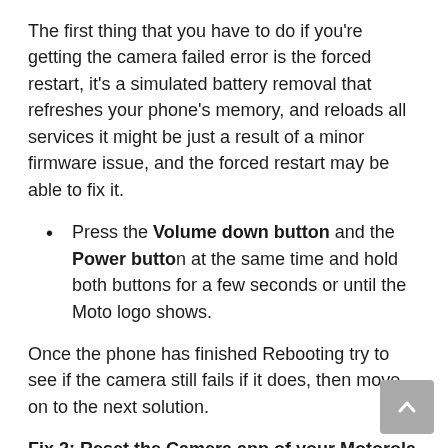The first thing that you have to do if you're getting the camera failed error is the forced restart, it's a simulated battery removal that refreshes your phone's memory, and reloads all services it might be just a result of a minor firmware issue, and the forced restart may be able to fix it.
Press the Volume down button and the Power button at the same time and hold both buttons for a few seconds or until the Moto logo shows.
Once the phone has finished Rebooting try to see if the camera still fails if it does, then move on to the next solution.
Fix 2: Reset the Camera app of your Motorola Moto E6i